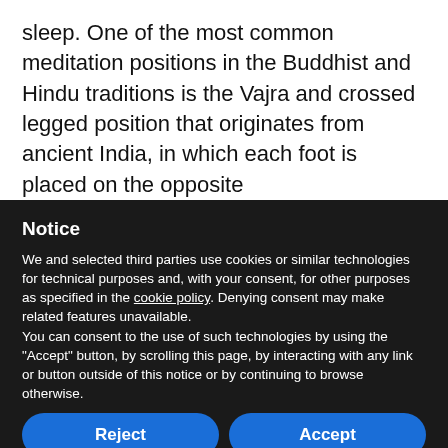sleep. One of the most common meditation positions in the Buddhist and Hindu traditions is the Vajra and crossed legged position that originates from ancient India, in which each foot is placed on the opposite
Notice
We and selected third parties use cookies or similar technologies for technical purposes and, with your consent, for other purposes as specified in the cookie policy. Denying consent may make related features unavailable.
You can consent to the use of such technologies by using the "Accept" button, by scrolling this page, by interacting with any link or button outside of this notice or by continuing to browse otherwise.
Reject | Accept | Learn more and customize